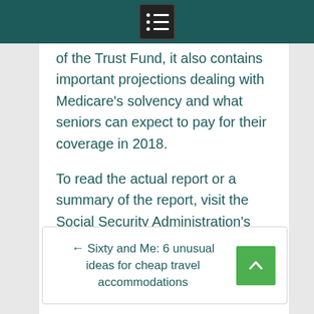Navigation menu icon
of the Trust Fund, it also contains important projections dealing with Medicare's solvency and what seniors can expect to pay for their coverage in 2018.
To read the actual report or a summary of the report, visit the Social Security Administration's website or click right here.
← Sixty and Me: 6 unusual ideas for cheap travel accommodations